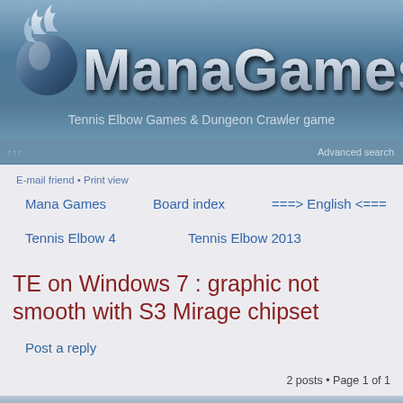[Figure (logo): ManaGames logo with flame/orb icon and large silver text 'ManaGames' on blue-grey gradient background]
Tennis Elbow Games & Dungeon Crawler game
↑↑↑   Advanced search
E-mail friend • Print view
Mana Games   Board index   ===> English <===
Tennis Elbow 4   Tennis Elbow 2013
TE on Windows 7 : graphic not smooth with S3 Mirage chipset
Post a reply
2 posts • Page 1 of 1